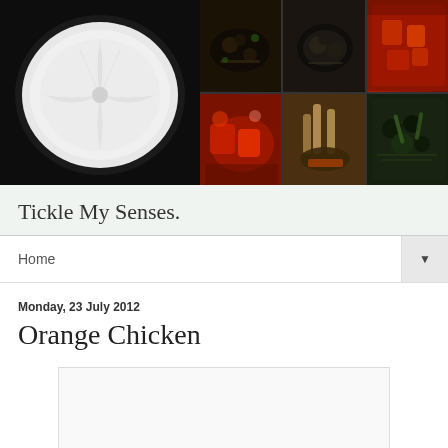[Figure (photo): Blog header banner showing a collage of food photos: a large white rice or flatbread on the left, and six smaller food dish photos on the right arranged in a 3x2 grid including dark stir-fry, mussels or clams, red curry, spicy chicken, meat dish, and greens.]
Tickle My Senses.
Home
Monday, 23 July 2012
Orange Chicken
[Figure (photo): Placeholder image area for Orange Chicken blog post photo]